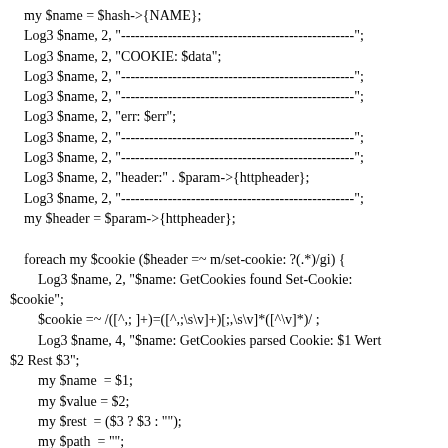my $name = $hash->{NAME};
Log3 $name, 2, "--------------------------------------------------";
Log3 $name, 2, "COOKIE: $data";
Log3 $name, 2, "--------------------------------------------------";
Log3 $name, 2, "--------------------------------------------------";
Log3 $name, 2, "err: $err";
Log3 $name, 2, "--------------------------------------------------";
Log3 $name, 2, "--------------------------------------------------";
Log3 $name, 2, "header:" . $param->{httpheader};
Log3 $name, 2, "--------------------------------------------------";
my $header = $param->{httpheader};

foreach my $cookie ($header =~ m/set-cookie: ?(.*)/gi) {
    Log3 $name, 2, "$name: GetCookies found Set-Cookie: $cookie";
    $cookie =~ /([^,; ]+)=([^,;\s\v]+)[;,\s\v]*([^\v]*)/ ;
    Log3 $name, 4, "$name: GetCookies parsed Cookie: $1 Wert $2 Rest $3";
    my $name  = $1;
    my $value = $2;
    my $rest  = ($3 ? $3 : "");
    my $path  = "";
    if ($rest =~ /path=([^;,]+)/) {
        $path = $1;
    }
}